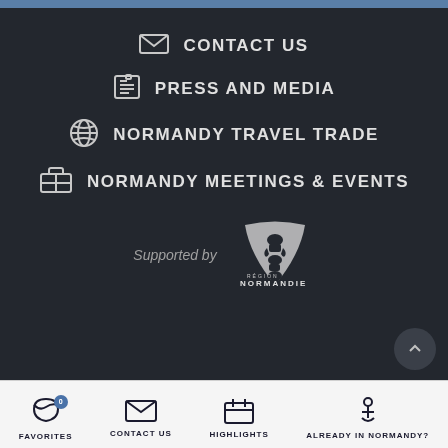CONTACT US
PRESS AND MEDIA
NORMANDY TRAVEL TRADE
NORMANDY MEETINGS & EVENTS
Supported by
[Figure (logo): Région Normandie heraldic lion logo with text RÉGION NORMANDIE]
FAVORITES  CONTACT US  HIGHLIGHTS  ALREADY IN NORMANDY?